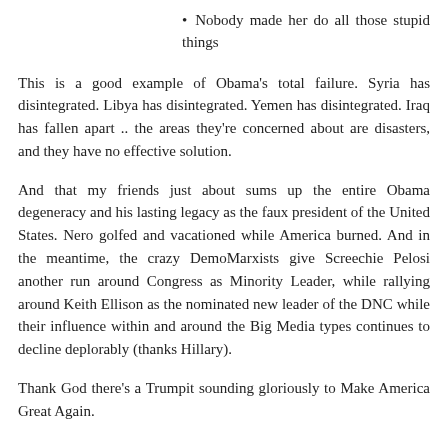Nobody made her do all those stupid things
This is a good example of Obama’s total failure. Syria has disintegrated. Libya has disintegrated. Yemen has disintegrated. Iraq has fallen apart .. the areas they’re concerned about are disasters, and they have no effective solution.
And that my friends just about sums up the entire Obama degeneracy and his lasting legacy as the faux president of the United States. Nero golfed and vacationed while America burned. And in the meantime, the crazy DemoMarxists give Screechie Pelosi another run around Congress as Minority Leader, while rallying around Keith Ellison as the nominated new leader of the DNC while their influence within and around the Big Media types continues to decline deplorably (thanks Hillary).
Thank God there’s a Trumpit sounding gloriously to Make America Great Again.